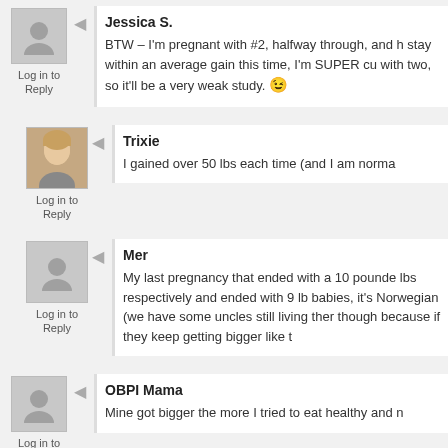Jessica S.
BTW – I'm pregnant with #2, halfway through, and h... stay within an average gain this time, I'm SUPER cu... with two, so it'll be a very weak study. 😉
Log in to Reply
Trixie
I gained over 50 lbs each time (and I am norma...
Log in to Reply
Mer
My last pregnancy that ended with a 10 pounde... lbs respectively and ended with 9 lb babies, it's... Norwegian (we have some uncles still living ther... though because if they keep getting bigger like t...
Log in to Reply
OBPI Mama
Mine got bigger the more I tried to eat healthy and n...